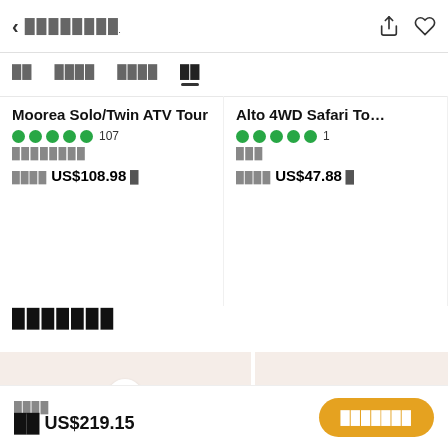< ████████
██ ████ ████ ██
Moorea Solo/Twin ATV Tour
★★★★★ 107
████████
████ US$108.98 █
Alto 4WD Safari To…
★★★★★ 1
███
████ US$47.88 █
███████
[Figure (other): Two placeholder image cards with heart/favorite button overlay]
████ ██ US$219.15  ███████